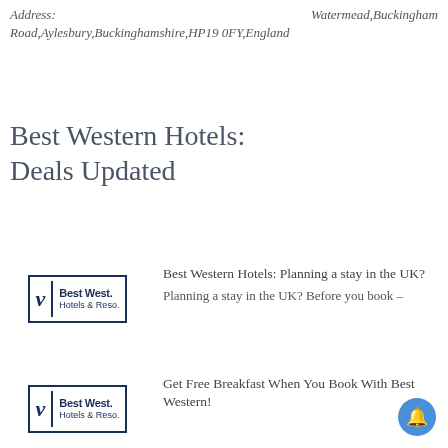Address: Watermead,Buckingham Road,Aylesbury,Buckinghamshire,HP19 0FY,England
Best Western Hotels: Deals Updated
Best Western Hotels: Planning a stay in the UK?
[Figure (logo): Best Western Hotels & Resorts logo with stylized V and vertical divider]
Planning a stay in the UK? Before you book –
Get Free Breakfast When You Book With Best Western!
[Figure (logo): Best Western Hotels & Resorts logo (partial, bottom of page)]